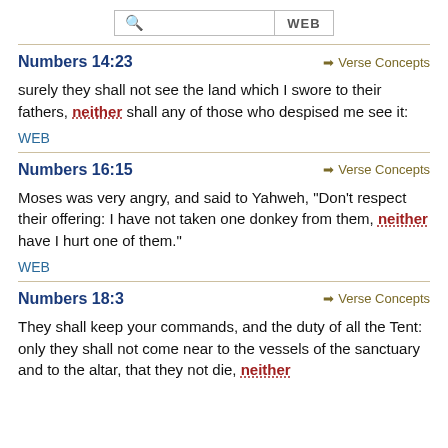[Figure (screenshot): Search bar with magnifying glass icon and WEB button]
Numbers 14:23
surely they shall not see the land which I swore to their fathers, neither shall any of those who despised me see it:
WEB
Numbers 16:15
Moses was very angry, and said to Yahweh, "Don't respect their offering: I have not taken one donkey from them, neither have I hurt one of them."
WEB
Numbers 18:3
They shall keep your commands, and the duty of all the Tent: only they shall not come near to the vessels of the sanctuary and to the altar, that they not die, neither